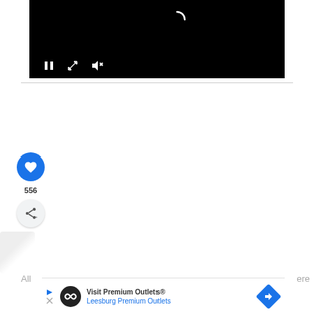[Figure (screenshot): Black video player with loading spinner and playback controls (pause, expand, mute) at the bottom]
[Figure (screenshot): Like button (blue circle with heart icon) with count 556, and share button below]
556
[Figure (screenshot): Advertisement banner: Visit Premium Outlets® / Leesburg Premium Outlets with logo and navigation arrow]